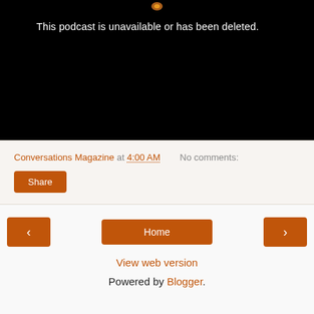[Figure (screenshot): Black podcast player area with text 'This podcast is unavailable or has been deleted.' and a small glowing icon at top center]
This podcast is unavailable or has been deleted.
Conversations Magazine at 4:00 AM   No comments:
Share
< Home >
View web version
Powered by Blogger.